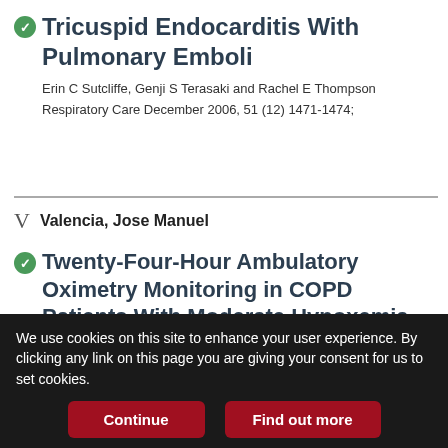Tricuspid Endocarditis With Pulmonary Emboli
Erin C Sutcliffe, Genji S Terasaki and Rachel E Thompson
Respiratory Care December 2006, 51 (12) 1471-1474;
Valencia, Jose Manuel
Twenty-Four-Hour Ambulatory Oximetry Monitoring in COPD Patients With Moderate Hypoxemia
Ciro Casanova, Ma Concepción Hernández, Alejandro Sánchez, Ignacio García-Talavera, Juan Pablo de Torres, Juan Abreu, Jose Manuel Valencia, Armando Aguirre-Jaime and Bartolomé R Celli
We use cookies on this site to enhance your user experience. By clicking any link on this page you are giving your consent for us to set cookies.